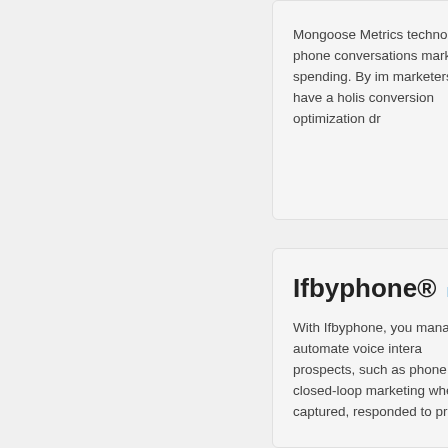Mongoose Metrics techno... after phone conversations... marketing spending. By im... marketers will have a holis... conversion optimization dr...
Ifbyphone®
With Ifbyphone, you mana... and automate voice intera... prospects, such as phone... closed-loop marketing whe... captured, responded to pr...